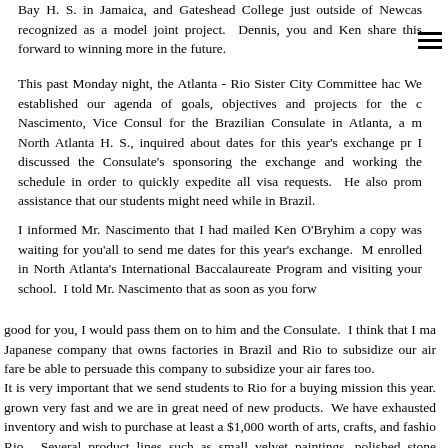Bay H. S. in Jamaica, and Gateshead College just outside of Newcas recognized as a model joint project.  Dennis, you and Ken share this forward to winning more in the future.
This past Monday night, the Atlanta - Rio Sister City Committee hac We established our agenda of goals, objectives and projects for the c Nascimento, Vice Consul for the Brazilian Consulate in Atlanta, a m North Atlanta H. S., inquired about dates for this year's exchange pr I discussed the Consulate's sponsoring the exchange and working the schedule in order to quickly expedite all visa requests.  He also prom assistance that our students might need while in Brazil.
I informed Mr. Nascimento that I had mailed Ken O'Bryhim a copy was waiting for you'all to send me dates for this year's exchange.  M enrolled in North Atlanta's International Baccalaureate Program and visiting your school.  I told Mr. Nascimento that as soon as you forw
good for you, I would pass them on to him and the Consulate.  I think that I ma Japanese company that owns factories in Brazil and Rio to subsidize our air fare be able to persuade this company to subsidize your air fares too.
It is very important that we send students to Rio for a buying mission this year. grown very fast and we are in great need of new products.  We have exhausted inventory and wish to purchase at least a $1,000 worth of arts, crafts, and fashio Rio.  Several product lines such as small velvet paintings, polished stone jewelry inexpensive jewelry lines have proved very popular and profitable.  Inexpensive